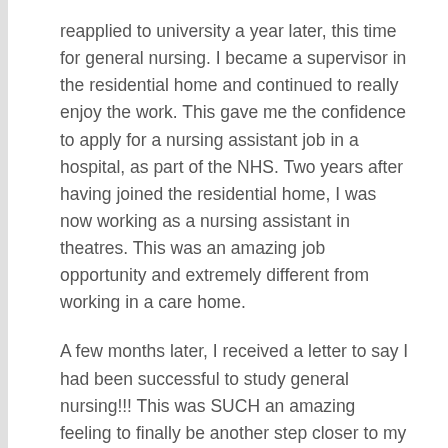reapplied to university a year later, this time for general nursing. I became a supervisor in the residential home and continued to really enjoy the work. This gave me the confidence to apply for a nursing assistant job in a hospital, as part of the NHS. Two years after having joined the residential home, I was now working as a nursing assistant in theatres. This was an amazing job opportunity and extremely different from working in a care home.
A few months later, I received a letter to say I had been successful to study general nursing!!! This was SUCH an amazing feeling to finally be another step closer to my Australian dream.
I enrolled in university the following year and continued to work both as a care assistant in the home and as a nursing assistant in the hospital. I was able to work across four different hospitals in numerous wards throughout my journey as a nursing assistant. I will never forget the things I learned here.